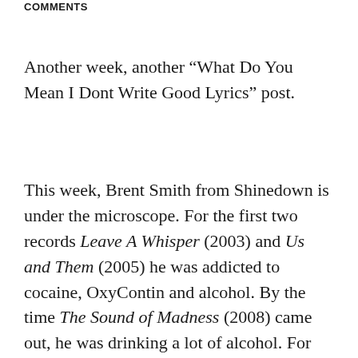COMMENTS
Another week, another “What Do You Mean I Dont Write Good Lyrics” post.
This week, Brent Smith from Shinedown is under the microscope. For the first two records Leave A Whisper (2003) and Us and Them (2005) he was addicted to cocaine, OxyContin and alcohol. By the time The Sound of Madness (2008) came out, he was drinking a lot of alcohol. For some reason he reminds me of Nikki Sixx.